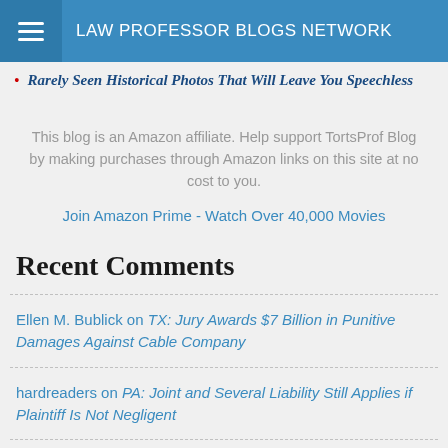LAW PROFESSOR BLOGS NETWORK
Rarely Seen Historical Photos That Will Leave You Speechless
This blog is an Amazon affiliate. Help support TortsProf Blog by making purchases through Amazon links on this site at no cost to you.
Join Amazon Prime - Watch Over 40,000 Movies
Recent Comments
Ellen M. Bublick on TX: Jury Awards $7 Billion in Punitive Damages Against Cable Company
hardreaders on PA: Joint and Several Liability Still Applies if Plaintiff Is Not Negligent
Tom Russell on Russell on Frivolous Defenses